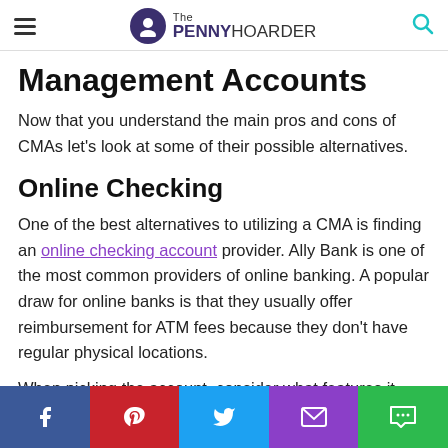The PENNY HOARDER
Management Accounts
Now that you understand the main pros and cons of CMAs let's look at some of their possible alternatives.
Online Checking
One of the best alternatives to utilizing a CMA is finding an online checking account provider. Ally Bank is one of the most common providers of online banking. A popular draw for online banks is that they usually offer reimbursement for ATM fees because they don't have regular physical locations.
When picking the account, consider what features it offers
Share buttons: Facebook, Pinterest, Twitter, Email, Comment